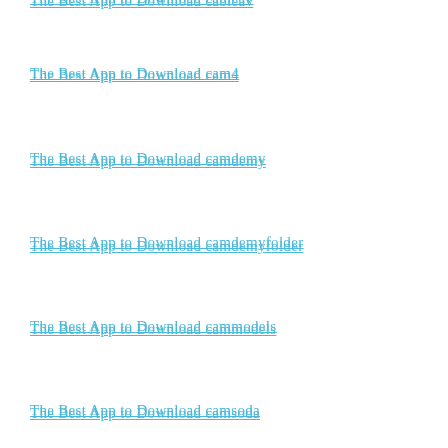The Best App to Download cableav
The Best App to Download cam4
The Best App to Download camdemy
The Best App to Download camdemyfolder
The Best App to Download cammodels
The Best App to Download camsoda
The Best App to Download camwithher
The Best App to Download canalalpha
The Best App to Download canalc2.tv
The Best App to Download canalplus
The Best App to Download canvas
The Best App to Download canvaseen
The Best App to Download carambatv